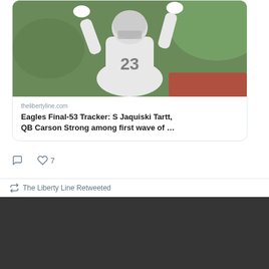[Figure (photo): Football player wearing jersey number 23 in white uniform catching or reaching for a ball, outdoors on a field]
thelibertyline.com
Eagles Final-53 Tracker: S Jaquiski Tartt, QB Carson Strong among first wave of …
7
The Liberty Line Retweeted
THE LIBERTY LINE